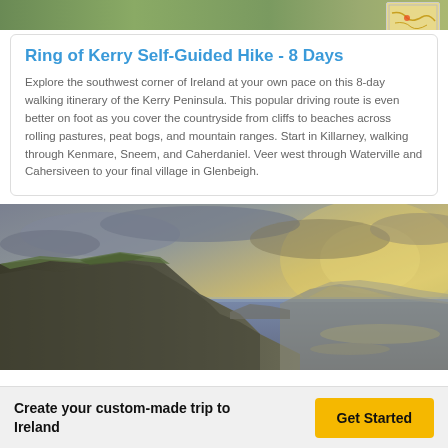[Figure (photo): Partial top photo strip of Irish landscape, with a small map thumbnail in the top-right corner]
Ring of Kerry Self-Guided Hike - 8 Days
Explore the southwest corner of Ireland at your own pace on this 8-day walking itinerary of the Kerry Peninsula. This popular driving route is even better on foot as you cover the countryside from cliffs to beaches across rolling pastures, peat bogs, and mountain ranges. Start in Killarney, walking through Kenmare, Sneem, and Caherdaniel. Veer west through Waterville and Cahersiveen to your final village in Glenbeigh.
[Figure (photo): Dramatic coastal cliffs photo (Cliffs of Moher style) with ocean and golden sunset sky in background]
Create your custom-made trip to Ireland
Get Started